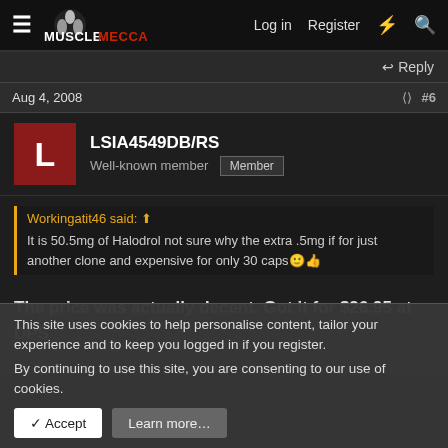MuscleMecca — Log in  Register
Reply
Aug 4, 2008  #6
LSIA4549DB/RS
Well-known member  Member
Workingatit46 said:
It is 50.5mg of Halodrol not sure why the extra .5mg if for just another clone and expensive for only 30 caps
The price was actually decent. Got it for $26.95 at DPS
This site uses cookies to help personalise content, tailor your experience and to keep you logged in if you register.
By continuing to use this site, you are consenting to our use of cookies.